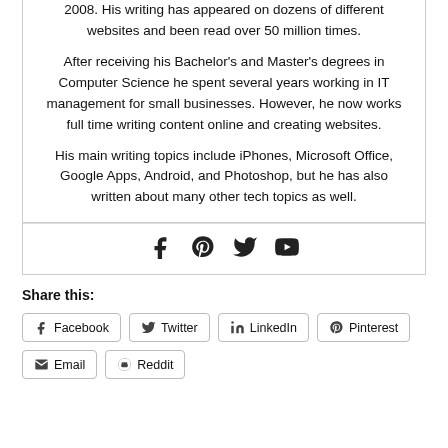2008. His writing has appeared on dozens of different websites and been read over 50 million times.
After receiving his Bachelor's and Master's degrees in Computer Science he spent several years working in IT management for small businesses. However, he now works full time writing content online and creating websites.
His main writing topics include iPhones, Microsoft Office, Google Apps, Android, and Photoshop, but he has also written about many other tech topics as well.
[Figure (other): Social media icons: Facebook, Pinterest, Twitter, YouTube]
Share this:
Facebook Twitter LinkedIn Pinterest Email Reddit